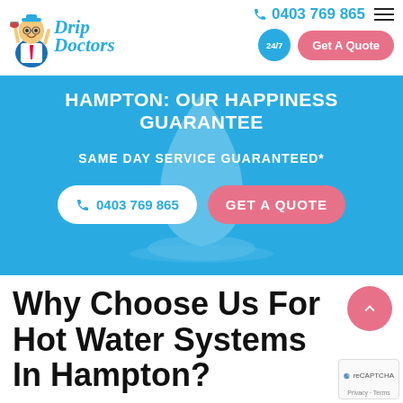[Figure (logo): Drip Doctors plumbing logo with cartoon mascot doctor holding a plunger, teal italic script text 'Drip Doctors']
0403 769 865
[Figure (other): 24/7 teal circle badge and pink 'Get A Quote' button]
HAMPTON: OUR HAPPINESS GUARANTEE
SAME DAY SERVICE GUARANTEED*
0403 769 865
GET A QUOTE
Why Choose Us For Hot Water Systems In Hampton?